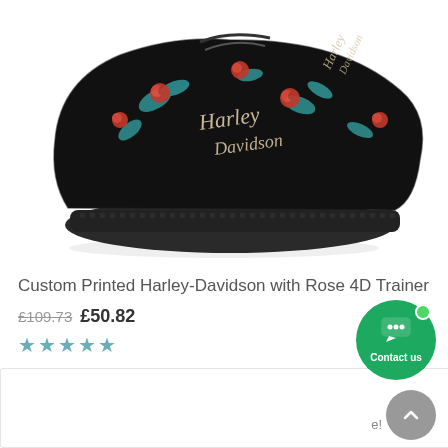[Figure (photo): Black sneaker/trainer shoe with Harley-Davidson branding and rose floral print on a dark background, shown from the side on white background.]
Custom Printed Harley-Davidson with Rose 4D Trainer
£109.73 £50.82
★★★★★